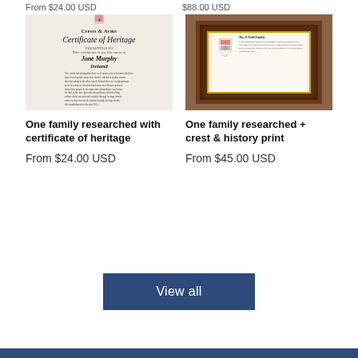From $24.00 USD   $88.00 USD
[Figure (photo): A certificate of heritage document for Jane Murphy, Ireland, printed on cream paper with script text and a Crests & Arms logo at the top. The document is angled and shows handwritten-style calligraphy.]
[Figure (photo): A framed crest and history print showing The O'Neill family coat of arms and text, set in an ornate dark wood and gold frame, displayed on a wooden surface.]
One family researched with certificate of heritage
From $24.00 USD
One family researched + crest & history print
From $45.00 USD
View all